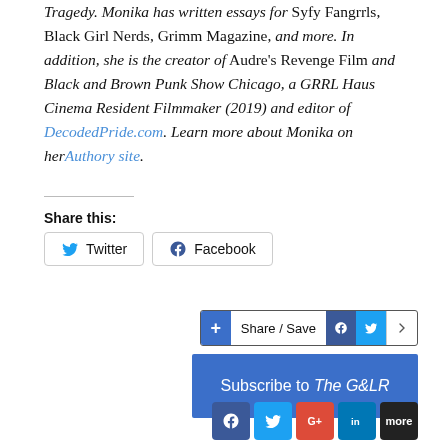Tragedy. Monika has written essays for Syfy Fangrrls, Black Girl Nerds, Grimm Magazine, and more. In addition, she is the creator of Audre's Revenge Film and Black and Brown Punk Show Chicago, a GRRL Haus Cinema Resident Filmmaker (2019) and editor of DecodedPride.com. Learn more about Monika on herAuthory site.
Share this:
Twitter   Facebook
Share / Save
Subscribe to The G&LR
f  Twitter  G+  in  more